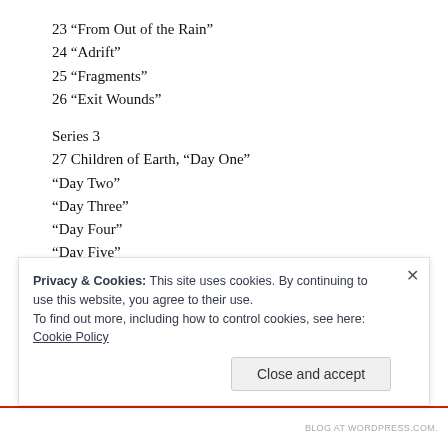23 “From Out of the Rain”
24 “Adrift”
25 “Fragments”
26 “Exit Wounds”
Series 3
27 Children of Earth, “Day One”
“Day Two”
“Day Three”
“Day Four”
“Day Five”
Mufanyu the pterodactyl
Privacy & Cookies: This site uses cookies. By continuing to use this website, you agree to their use.
To find out more, including how to control cookies, see here: Cookie Policy